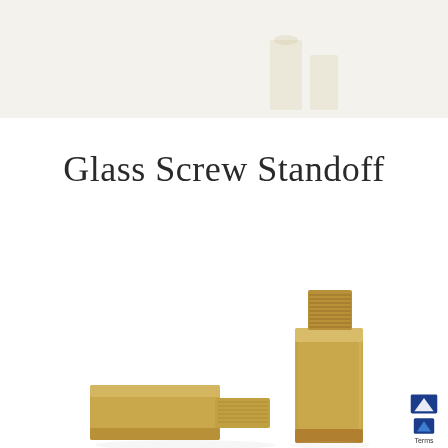[Figure (photo): Top banner area with light beige/cream background, partially visible product image of brass glass screw standoffs at the top of the page]
Glass Screw Standoff
[Figure (photo): Close-up photograph of brass/golden colored glass screw standoffs (hex standoff bolts) showing threaded screws and hexagonal bodies, photographed on white background]